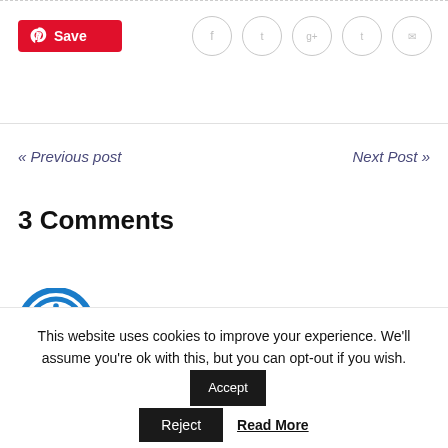[Figure (screenshot): Pinterest Save button (red with white Pinterest logo and 'Save' text)]
[Figure (screenshot): Social sharing icons: Facebook, Twitter, Google+, Tumblr, Email — each in a light gray circle]
« Previous post
Next Post »
3 Comments
[Figure (logo): Blue circular power/on button icon (user avatar)]
This website uses cookies to improve your experience. We'll assume you're ok with this, but you can opt-out if you wish.
Accept
Reject
Read More